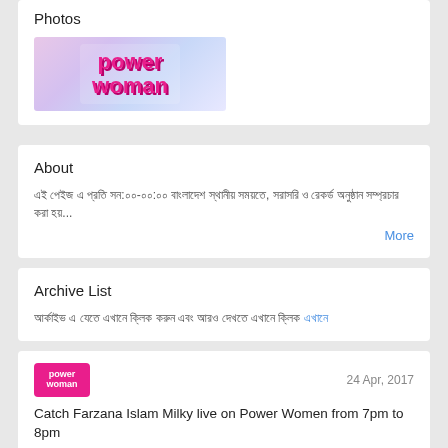Photos
[Figure (logo): Power Woman logo - pink text on light background]
About
এই পেইজ এ প্রতি সন:০০-০০:০০ বাংলাদেশ স্থানীয় সময়তে, সরাসরি ও রেকর্ড অনুষ্ঠান সম্প্রচার করা হয়...
More
Archive List
আর্কাইভ এ যেতে এখানে ক্লিক করুন এবং আরও দেখতে এখানে ক্লিক
[Figure (logo): Power Woman small logo thumbnail]
24 Apr, 2017
Catch Farzana Islam Milky live on Power Women from 7pm to 8pm